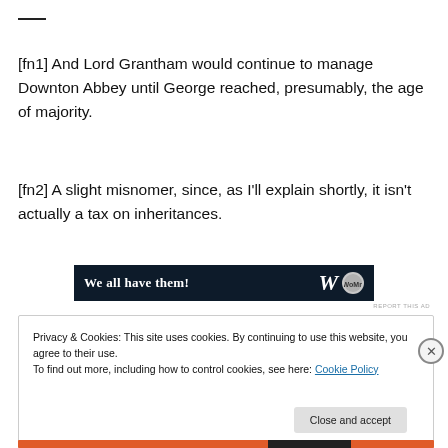[fn1] And Lord Grantham would continue to manage Downton Abbey until George reached, presumably, the age of majority.
[fn2] A slight misnomer, since, as I'll explain shortly, it isn't actually a tax on inheritances.
[Figure (other): Advertisement banner with dark navy background reading 'We all have them!' with logo icons on the right side.]
Privacy & Cookies: This site uses cookies. By continuing to use this website, you agree to their use.
To find out more, including how to control cookies, see here: Cookie Policy
Close and accept